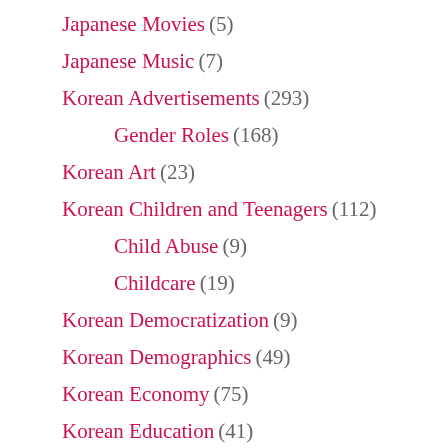Japanese Movies (5)
Japanese Music (7)
Korean Advertisements (293)
Gender Roles (168)
Korean Art (23)
Korean Children and Teenagers (112)
Child Abuse (9)
Childcare (19)
Korean Democratization (9)
Korean Demographics (49)
Korean Economy (75)
Korean Education (41)
Korean Families (70)
Adoption (5)